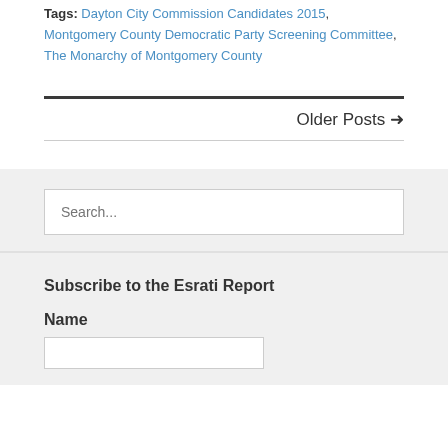Tags: Dayton City Commission Candidates 2015, Montgomery County Democratic Party Screening Committee, The Monarchy of Montgomery County
Older Posts →
Search...
Subscribe to the Esrati Report
Name